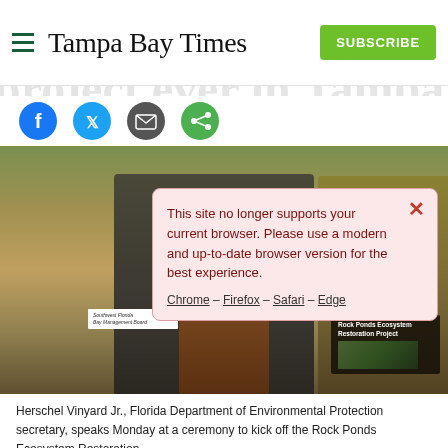Tampa Bay Times — SUBSCRIBE
largest restoration project ever in Tampa Bay
[Figure (photo): Social share icons: Facebook, Twitter, Email, Share]
[Figure (photo): Browser compatibility popup overlay on news article page with photo of Herschel Vinyard Jr. at podium outdoors. Popup text: This site no longer supports your current browser. Please use a modern and up-to-date browser version for the best experience. Chrome – Firefox – Safari – Edge]
This site no longer supports your current browser. Please use a modern and up-to-date browser version for the best experience.
Chrome – Firefox – Safari – Edge
Herschel Vinyard Jr., Florida Department of Environmental Protection secretary, speaks Monday at a ceremony to kick off the Rock Ponds Ecosystem Restoration.